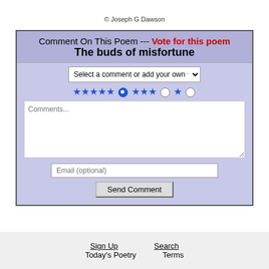© Joseph G Dawson
[Figure (screenshot): Comment form with title 'Comment On This Poem --- Vote for this poem' and subtitle 'The buds of misfortune'. Contains a dropdown 'Select a comment or add your own', star rating row with radio buttons, a text area with placeholder 'Comments...', an email input field, and a 'Send Comment' button. Background is lavender/periwinkle.]
Sign Up   Search   Today's Poetry   Terms